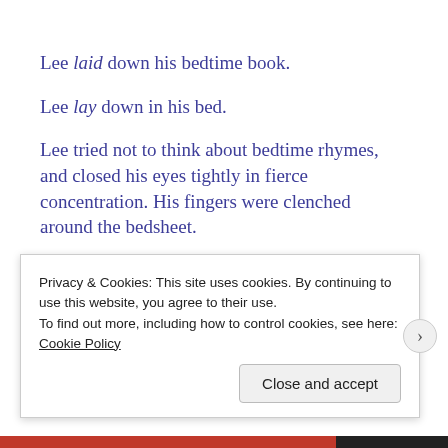Lee laid down his bedtime book.
Lee lay down in his bed.
Lee tried not to think about bedtime rhymes, and closed his eyes tightly in fierce concentration. His fingers were clenched around the bedsheet.
Lead vs. Led
Privacy & Cookies: This site uses cookies. By continuing to use this website, you agree to their use.
To find out more, including how to control cookies, see here: Cookie Policy